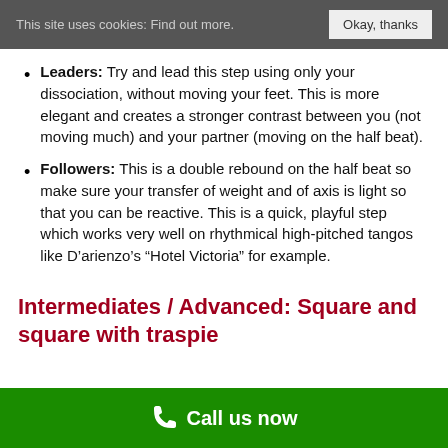This site uses cookies: Find out more. | Okay, thanks
Leaders: Try and lead this step using only your dissociation, without moving your feet. This is more elegant and creates a stronger contrast between you (not moving much) and your partner (moving on the half beat).
Followers: This is a double rebound on the half beat so make sure your transfer of weight and of axis is light so that you can be reactive. This is a quick, playful step which works very well on rhythmical high-pitched tangos like D’arienzo’s “Hotel Victoria” for example.
Intermediates / Advanced: Square and square with traspie
Call us now